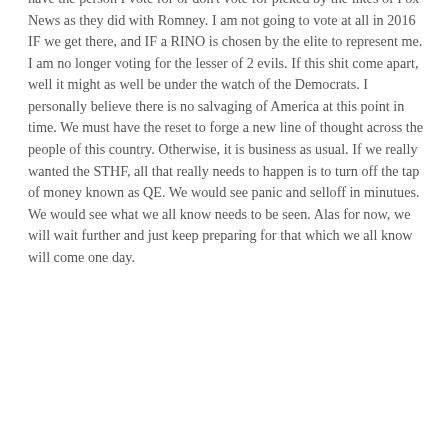have the person I vote for or don't vote for picked by the likes of Fox News as they did with Romney. I am not going to vote at all in 2016 IF we get there, and IF a RINO is chosen by the elite to represent me. I am no longer voting for the lesser of 2 evils. If this shit come apart, well it might as well be under the watch of the Democrats. I personally believe there is no salvaging of America at this point in time. We must have the reset to forge a new line of thought across the people of this country. Otherwise, it is business as usual. If we really wanted the STHF, all that really needs to happen is to turn off the tap of money known as QE. We would see panic and selloff in minutues. We would see what we all know needs to be seen. Alas for now, we will wait further and just keep preparing for that which we all know will come one day.